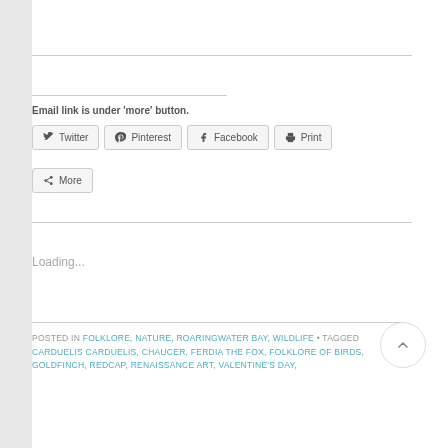Email link is under 'more' button.
Twitter
Pinterest
Facebook
Print
More
Loading...
POSTED IN FOLKLORE, NATURE, ROARINGWATER BAY, WILDLIFE • TAGGED CARDUELIS CARDUELIS, CHAUCER, FERDIA THE FOX, FOLKLORE OF BIRDS, GOLDFINCH, REDCAP, RENAISSANCE ART, VALENTINE'S DAY,